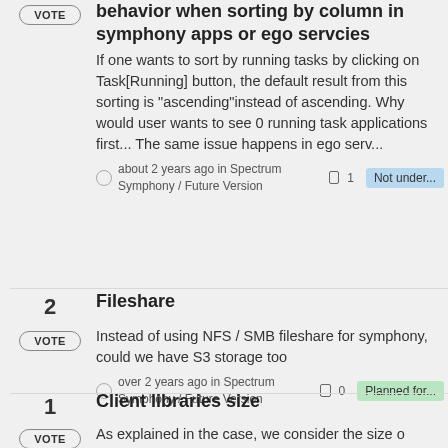behavior when sorting by column in symphony apps or ego servcies
If one wants to sort by running tasks by clicking on Task[Running] button, the default result from this sorting is "ascending"instead of ascending. Why would user wants to see 0 running task applications first... The same issue happens in ego serv...
about 2 years ago in Spectrum Symphony / Future Version  1  Not under...
Fileshare
Instead of using NFS / SMB fileshare for symphony, could we have S3 storage too
over 2 years ago in Spectrum Symphony / Future Version  0  Planned for...
Client libraries size
As explained in the case, we consider the size o